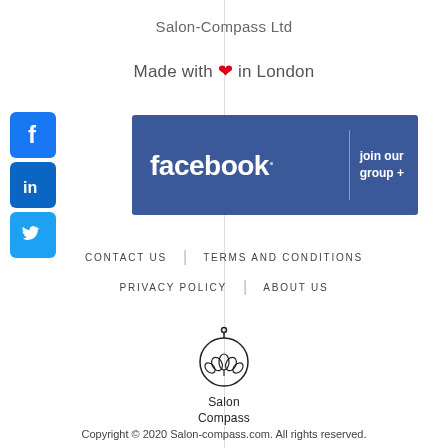Salon-Compass Ltd
Made with ❤ in London
[Figure (logo): Facebook social icon (blue square with white f)]
[Figure (logo): LinkedIn social icon (blue square with white in)]
[Figure (logo): Twitter social icon (blue square with white bird)]
[Figure (logo): Facebook banner with text 'facebook. join our group +']
CONTACT US | TERMS AND CONDITIONS
PRIVACY POLICY | ABOUT US
[Figure (logo): Salon Compass logo with compass and lotus flower design, text 'Salon Compass']
Copyright © 2020 Salon-compass.com. All rights reserved.